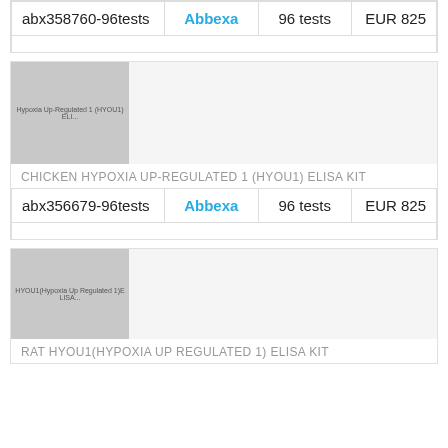| abx358760-96tests | Abbexa | 96 tests | EUR 825 |
[Figure (photo): Thumbnail placeholder for Chicken Hypoxia Up-Regulated 1 (HYOU1) ELISA Kit]
CHICKEN HYPOXIA UP-REGULATED 1 (HYOU1) ELISA KIT
| abx356679-96tests | Abbexa | 96 tests | EUR 825 |
[Figure (photo): Thumbnail placeholder for Rat HYOU1 (Hypoxia Up Regulated 1) ELISA Kit]
RAT HYOU1(HYPOXIA UP REGULATED 1) ELISA KIT